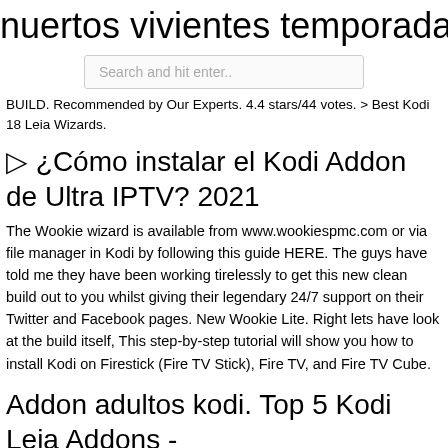nuertos vivientes temporada 1 episod
Search and hit enter..
BUILD. Recommended by Our Experts. 4.4 stars/44 votes. > Best Kodi 18 Leia Wizards.
▷ ¿Cómo instalar el Kodi Addon de Ultra IPTV? 2021
The Wookie wizard is available from www.wookiespmc.com or via file manager in Kodi by following this guide HERE. The guys have told me they have been working tirelessly to get this new clean build out to you whilst giving their legendary 24/7 support on their Twitter and Facebook pages. New Wookie Lite. Right lets have look at the build itself, This step-by-step tutorial will show you how to install Kodi on Firestick (Fire TV Stick), Fire TV, and Fire TV Cube.
Addon adultos kodi. Top 5 Kodi Leia Addons -